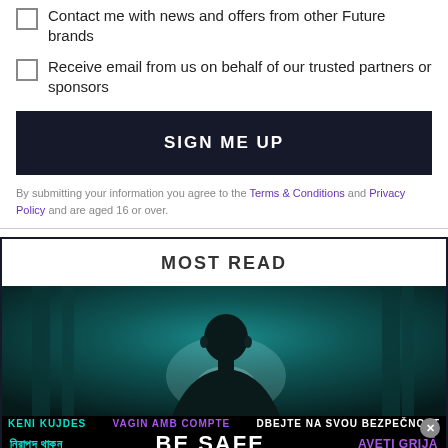Contact me with news and offers from other Future brands
Receive email from us on behalf of our trusted partners or sponsors
SIGN ME UP
By submitting your information you agree to the Terms & Conditions and Privacy Policy and are aged 16 or over.
MOST READ
[Figure (photo): Dark teal-toned still of a man looking directly at camera, from a film or TV show]
[Figure (infographic): Black banner with multilingual BE SAFE text in teal, purple, white, and green colors. Languages include Albanian, Catalan, Czech, Bengali, Romanian, Danish, Dutch, Estonian, Portuguese.]